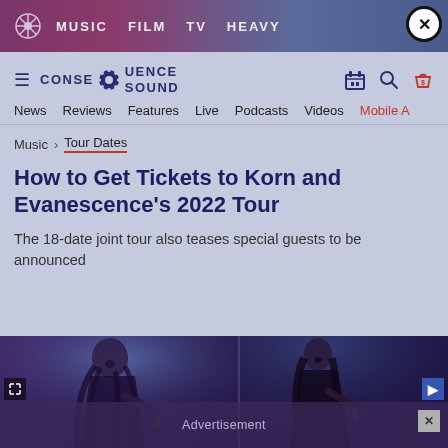MUSIC  FILM  TV  HEAVY
CONSEQUENCE SOUND
News  Reviews  Features  Live  Podcasts  Videos  Mobile A
Music > Tour Dates
How to Get Tickets to Korn and Evanescence's 2022 Tour
The 18-date joint tour also teases special guests to be announced
[Figure (photo): Two performers on stage: left shows a male vocalist with dreadlocks singing into a microphone under blue/purple stage lighting; right shows a female vocalist singing into a microphone with a band visible in background. Advertisement banner overlay at bottom.]